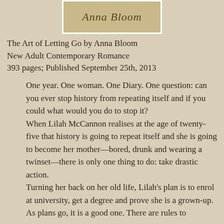[Figure (illustration): Book cover image showing handwritten cursive text 'Anna Bloom' on a tan/beige background with a white border frame]
The Art of Letting Go by Anna Bloom
New Adult Contemporary Romance
393 pages; Published September 25th, 2013
One year. One woman. One Diary. One question: can you ever stop history from repeating itself and if you could what would you do to stop it?
When Lilah McCannon realises at the age of twenty-five that history is going to repeat itself and she is going to become her mother—bored, drunk and wearing a twinset—there is only one thing to do: take drastic action.
Turning her back on her old life, Lilah's plan is to enrol at university, get a degree and prove she is a grown-up.
As plans go, it is a good one. There are rules to